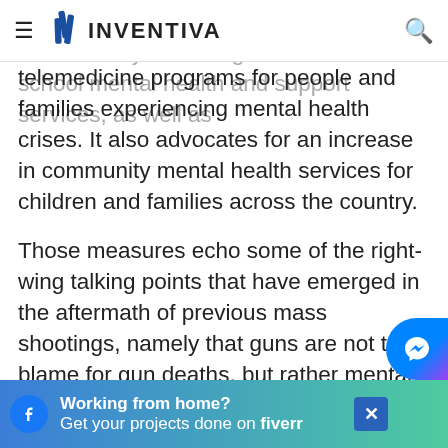INVENTIVA
The framework prioritizes mental health treatment by allocating funds for in-school mental health and support services, as well as telemedicine programs for people and families experiencing mental health crises. It also advocates for an increase in community mental health services for children and families across the country.
Those measures echo some of the right-wing talking points that have emerged in the aftermath of previous mass shootings, namely that guns are not to blame for gun deaths, but rather mental illness, a perceived lack of Christian influence in society, inadequate school security, and a variety of other...
[Figure (other): Advertisement banner: Working from home? Get your projects done on fiverr]